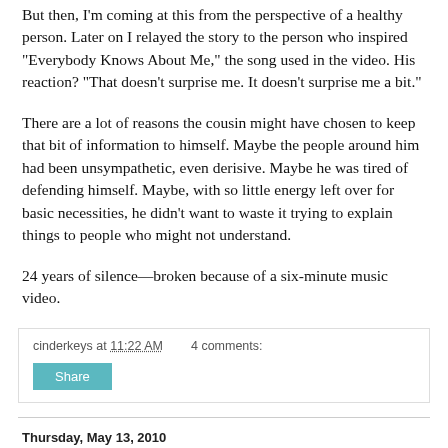But then, I'm coming at this from the perspective of a healthy person. Later on I relayed the story to the person who inspired "Everybody Knows About Me," the song used in the video. His reaction? "That doesn't surprise me. It doesn't surprise me a bit."
There are a lot of reasons the cousin might have chosen to keep that bit of information to himself. Maybe the people around him had been unsympathetic, even derisive. Maybe he was tired of defending himself. Maybe, with so little energy left over for basic necessities, he didn't want to waste it trying to explain things to people who might not understand.
24 years of silence—broken because of a six-minute music video.
cinderkeys at 11:22 AM    4 comments:
Share
Thursday, May 13, 2010
KXCI: Broadcasting awareness